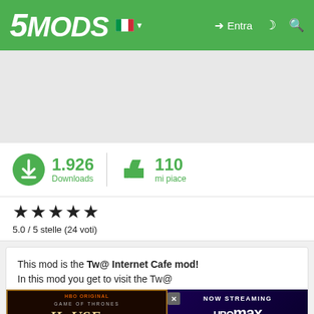5MODS — Entra
[Figure (screenshot): Gray advertisement placeholder space]
1.926 Downloads | 110 mi piace
5.0 / 5 stelle (24 voti)
This mod is the Tw@ Internet Cafe mod!
In this mod you get to visit the Tw@

NOTE:
- This has quite a few bugs!
- The fingers do NOT move on the Tw@ Employee (Jakes)!
- If you ... e the script ...
[Figure (screenshot): House of the Dragon HBO Max advertisement banner overlay]